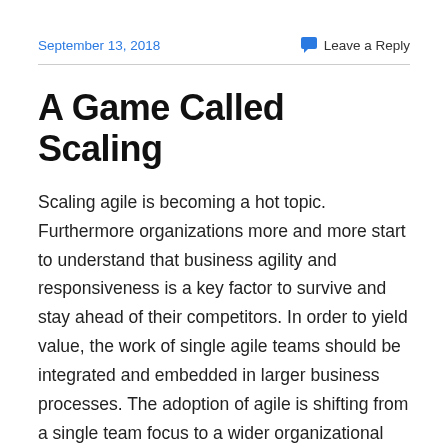September 13, 2018
Leave a Reply
A Game Called Scaling
Scaling agile is becoming a hot topic.  Furthermore organizations more and more start to understand that business agility and responsiveness is a key factor to survive and stay ahead of their competitors. In order to yield value, the work of single agile teams should be integrated and embedded in larger business processes. The adoption of agile is shifting from a single team focus to a wider organizational approach
In May this year Valori piloted a serious game in which participants experience the challenges of inter-team